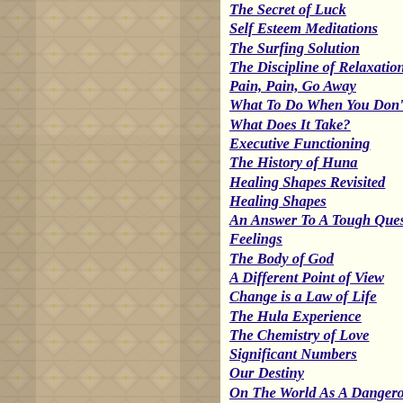[Figure (illustration): Decorative woven basket/textile pattern in muted tan, rose, grey, and yellow diamond weave texture filling the left column of the page.]
The Secret of Luck
Self Esteem Meditations
The Surfing Solution
The Discipline of Relaxation
Pain, Pain, Go Away
What To Do When You Don't Kn…
What Does It Take?
Executive Functioning
The History of Huna
Healing Shapes Revisited
Healing Shapes
An Answer To A Tough Question…
Feelings
The Body of God
A Different Point of View
Change is a Law of Life
The Hula Experience
The Chemistry of Love
Significant Numbers
Our Destiny
On The World As A Dangerous…
The Myth of Supply and Deman…
A Destressing Plan
On Prayer
What About Me?